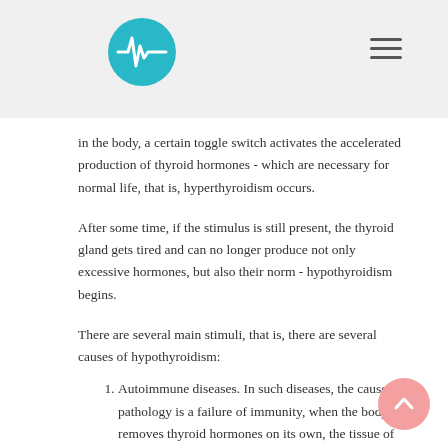[Figure (logo): Circular teal logo with a heartbeat/pulse waveform symbol in white]
in the body, a certain toggle switch activates the accelerated production of thyroid hormones - which are necessary for normal life, that is, hyperthyroidism occurs.
After some time, if the stimulus is still present, the thyroid gland gets tired and can no longer produce not only excessive hormones, but also their norm - hypothyroidism begins.
There are several main stimuli, that is, there are several causes of hypothyroidism:
Autoimmune diseases. In such diseases, the cause of pathology is a failure of immunity, when the body removes thyroid hormones on its own, the tissue of the organ is